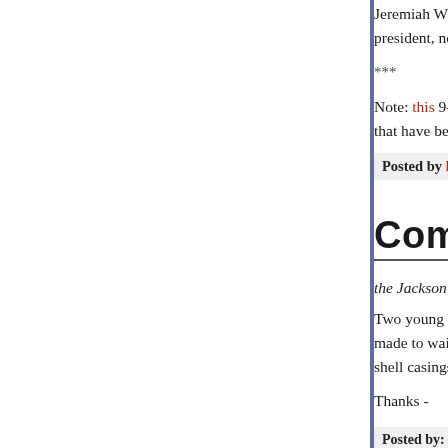Jeremiah Wright to say, in 2006, that "No black m... president, no matter how hard you run Jesse."
***
Note: this 9-10 minute Youtube clip of part of the s... that have been shown over and over, is worth liste...
Posted by hilzoy at 03:29 AM | Permalink
Comments
the Jackson State killings occurred about half a w...
Two young black men shot dead by police. Quite ... made to wait before being taken to the hospital so... shell casings.
Thanks -
Posted by: russell | March 22, 2008 at 12:53 AM
Grey seems to have pulled comments from here, ...guess